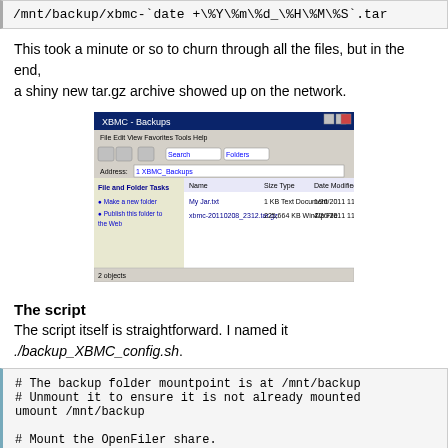/mnt/backup/xbmc-`date +\%Y\%m\%d_\%H\%M\%S`.tar
This took a minute or so to churn through all the files, but in the end, a shiny new tar.gz archive showed up on the network.
[Figure (screenshot): Windows Explorer window showing XBMC-Backups folder with two files listed]
The script
The script itself is straightforward. I named it ./backup_XBMC_config.sh.
# The backup folder mountpoint is at /mnt/backup
# Unmount it to ensure it is not already mounted
umount /mnt/backup

# Mount the OpenFiler share.
mount /mnt/backup

# Start the tar backup using gzip compression